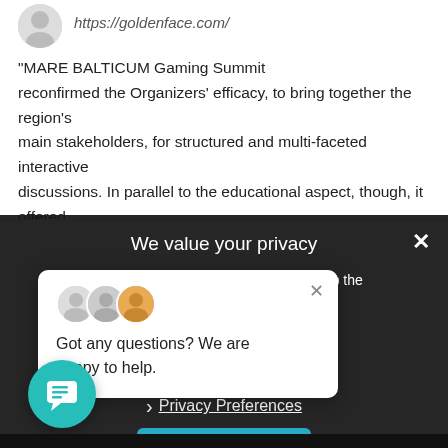https://goldenface.com/
"MARE BALTICUM Gaming Summit reconfirmed the Organizers' efficacy, to bring together the region's main stakeholders, for structured and multi-faceted interactive discussions. In parallel to the educational aspect, though, it offered the chance of personalized networking, in a relax and unpretentious way. I look already forward to the next edition!"
We value your privacy
We use cookies and other technologies to keep the site reliable and secure, tailor your experience, measure site performance and present relevant content, as described in our privacy policy and cookie policy.
› Privacy Preferences
I Agree
Got any questions? We are happy to help.